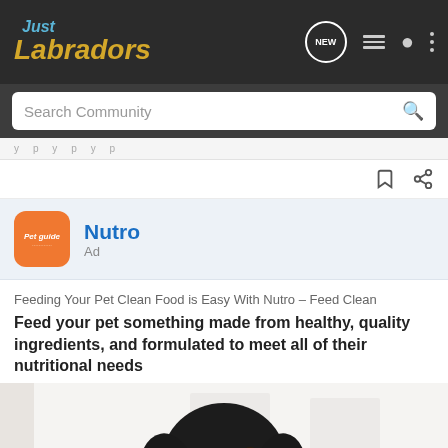Just Labradors
Search Community
Nutro
Ad
Feeding Your Pet Clean Food is Easy With Nutro – Feed Clean
Feed your pet something made from healthy, quality ingredients, and formulated to meet all of their nutritional needs
[Figure (photo): Black dog (Cocker Spaniel) sitting and looking at camera against a light background]